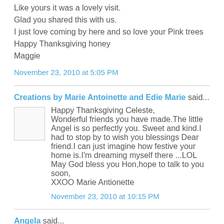Like yours it was a lovely visit.
Glad you shared this with us.
I just love coming by here and so love your Pink trees
Happy Thanksgiving honey
Maggie
November 23, 2010 at 5:05 PM
Creations by Marie Antoinette and Edie Marie said...
Happy Thanksgiving Celeste,
Wonderful friends you have made.The little Angel is so perfectly you. Sweet and kind.I had to stop by to wish you blessings Dear friend.I can just imagine how festive your home is.I'm dreaming myself there ...LOL
May God bless you Hon,hope to talk to you soon,
XXOO Marie Antionette
November 23, 2010 at 10:15 PM
Angela said...
I just finished reading and commenting on Ginny's blog